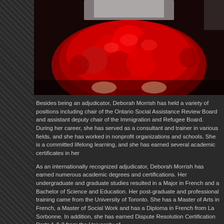[Figure (photo): A person holding a large bouquet of red roses, photo cropped to show primarily the red roses bouquet against a light background.]
Besides being an adjudicator, Deborah Morrish has held a variety of positions including chair of the Ontario Social Assistance Review Board and assistant deputy chair of the Immigration and Refugee Board. During her career, she has served as a consultant and trainer in various fields, and she has worked in nonprofit organizations and schools. She is a committed lifelong learner, and she has earned several academic certificates in her areas of interest.
As an internationally recognized adjudicator, Deborah Morrish has earned numerous academic degrees and certifications. Her undergraduate and graduate studies resulted in a Major in French and a Bachelor of Science and Education. Her post-graduate and professional training came from the University of Toronto. She has a Master of Arts in French, a Master of Social Work and has a Diploma in French from La Sorbonne. In addition, she has earned Dispute Resolution Certification Parts 1 & 2 from the University of...
A former educator and humanitarian consultant, Deborah Morrish...